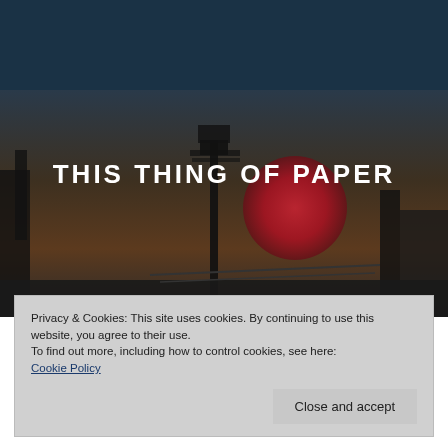[Figure (logo): Shinybees logo with star decorations on dark navy header background]
[Figure (photo): Dark moody background photo showing silhouetted figures and industrial/nautical structures at dusk with a large red orb/sun]
THIS THING OF PAPER
Privacy & Cookies: This site uses cookies. By continuing to use this website, you agree to their use.
To find out more, including how to control cookies, see here:
Cookie Policy
Close and accept